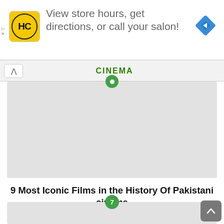[Figure (screenshot): Advertisement banner with HC salon logo (yellow square with HC text in circle), text 'View store hours, get directions, or call your salon!', blue navigation diamond icon on right, and small play/close controls on left edge]
[Figure (screenshot): Browser navigation bar with back chevron button and green uppercase 'CINEMA' tab label]
[Figure (map): Light gray map area with green circular marker at top center]
9 Most Iconic Films in the History Of Pakistani cinema
[Figure (map): Light gray map area with green circular marker numbered 7 at top center, partially visible]
[Figure (other): Gray scroll-to-top button with upward arrow in bottom right corner]